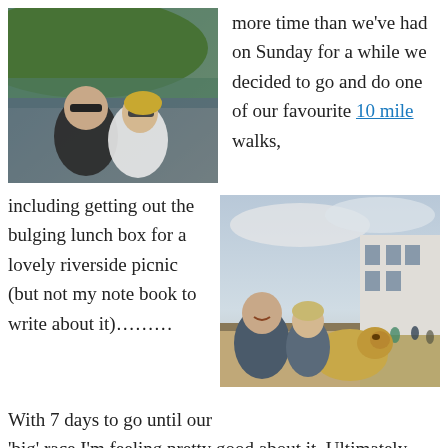[Figure (photo): Selfie of a man and woman smiling outdoors with trees and a coastal view in the background]
more time than we’ve had on Sunday for a while we decided to go and do one of our favourite 10 mile walks,
including getting out the bulging lunch box for a lovely riverside picnic (but not my note book to write about it)………….
[Figure (photo): A man and woman smiling with a dog in the foreground, near a waterfront with buildings and people in the background]
With 7 days to go until our ‘big’ race I’m feeling pretty good about it. Ultimately